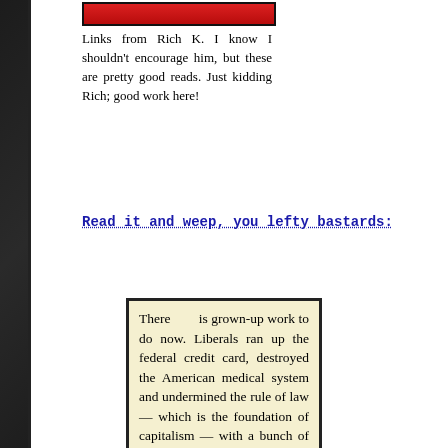[Figure (other): Red banner/button graphic at top of left column]
Links from Rich K. I know I shouldn't encourage him, but these are pretty good reads. Just kidding Rich; good work here!
Read it and weep, you lefty bastards:
There is grown-up work to do now. Liberals ran up the federal credit card, destroyed the American medical system and undermined the rule of law — which is the foundation of capitalism — with a bunch of unconstitutional fiats from the president and his